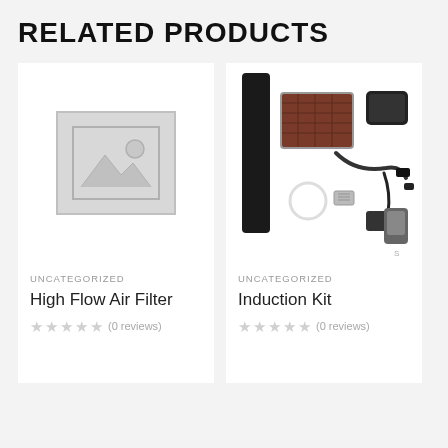RELATED PRODUCTS
[Figure (photo): Placeholder image with mountain/landscape icon for High Flow Air Filter product]
UNCATEGORIZED
High Flow Air Filter
★★★★★ (0 reviews)
[Figure (photo): Photo of Induction Kit components including air filter, intake pipe, cables, connectors and handheld device]
UNCATEGORIZED
Induction Kit
★★★★★ (0 reviews)